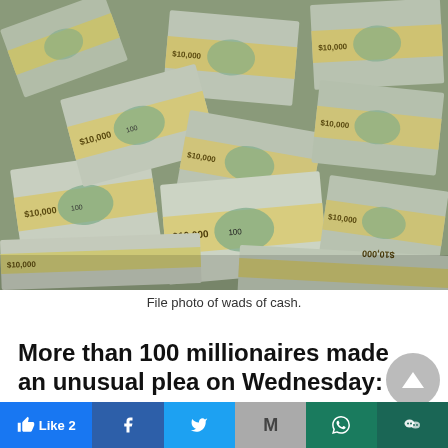[Figure (photo): File photo showing multiple stacked bundles of US $100 dollar bills wrapped with yellow $10,000 bands, scattered across a surface.]
File photo of wads of cash.
More than 100 millionaires made an unusual plea on Wednesday: “Tax us now”.